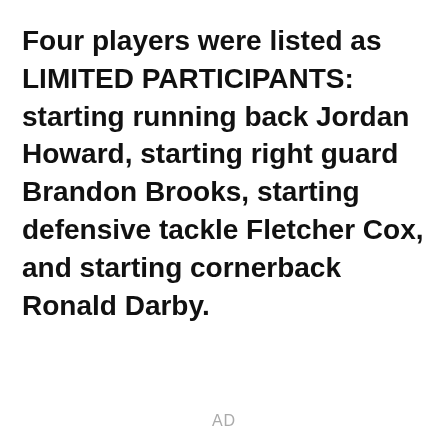Four players were listed as LIMITED PARTICIPANTS: starting running back Jordan Howard, starting right guard Brandon Brooks, starting defensive tackle Fletcher Cox, and starting cornerback Ronald Darby.
AD